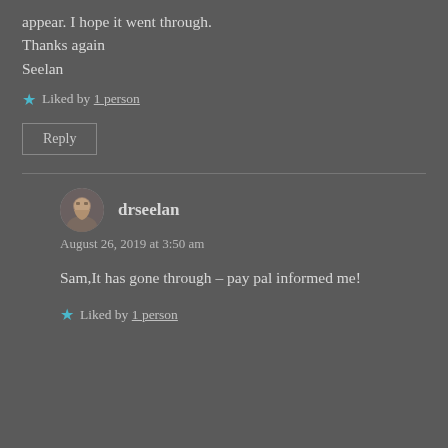appear. I hope it went through.
Thanks again
Seelan
★ Liked by 1 person
Reply
drseelan
August 26, 2019 at 3:50 am
Sam,It has gone through – pay pal informed me!
★ Liked by 1 person